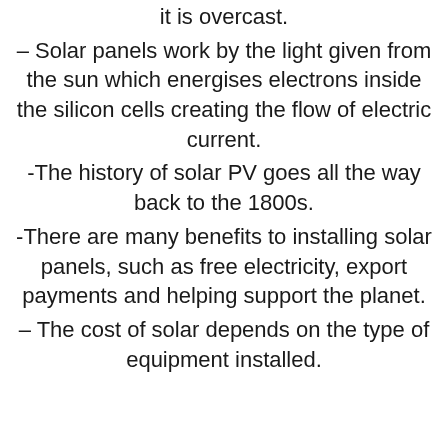it is overcast.
– Solar panels work by the light given from the sun which energises electrons inside the silicon cells creating the flow of electric current.
-The history of solar PV goes all the way back to the 1800s.
-There are many benefits to installing solar panels, such as free electricity, export payments and helping support the planet.
– The cost of solar depends on the type of equipment installed.